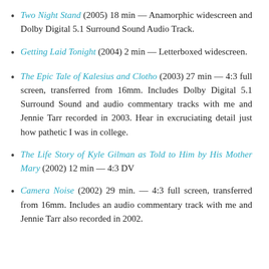Two Night Stand (2005) 18 min — Anamorphic widescreen and Dolby Digital 5.1 Surround Sound Audio Track.
Getting Laid Tonight (2004) 2 min — Letterboxed widescreen.
The Epic Tale of Kalesius and Clotho (2003) 27 min — 4:3 full screen, transferred from 16mm. Includes Dolby Digital 5.1 Surround Sound and audio commentary tracks with me and Jennie Tarr recorded in 2003. Hear in excruciating detail just how pathetic I was in college.
The Life Story of Kyle Gilman as Told to Him by His Mother Mary (2002) 12 min — 4:3 DV
Camera Noise (2002) 29 min. — 4:3 full screen, transferred from 16mm. Includes an audio commentary track with me and Jennie Tarr also recorded in 2002.